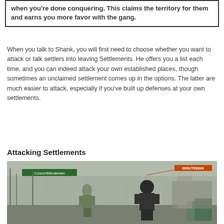when you're done conquering. This claims the territory for them and earns you more favor with the gang.
When you talk to Shank, you will first need to choose whether you want to attack or talk settlers into leaving Settlements. He offers you a list each time, and you can indeed attack your own established places, though sometimes an unclaimed settlement comes up in the options. The latter are much easier to attack, especially if you've built up defenses at your own settlements.
Attacking Settlements
[Figure (screenshot): In-game screenshot showing two characters in a post-apocalyptic outdoor setting with rain effect. One character has a green name tag reading 'ConcordMinuteman' and another has an orange tag reading 'MINUTEMAN'. The environment shows destroyed buildings and bare trees.]